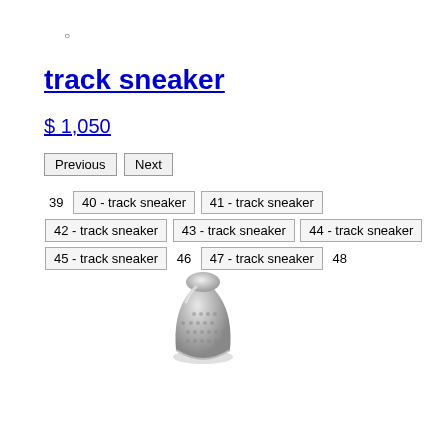○
track sneaker
$ 1,050
Previous  Next
39  40 - track sneaker  41 - track sneaker  42 - track sneaker  43 - track sneaker  44 - track sneaker  45 - track sneaker  46  47 - track sneaker  48
[Figure (photo): A silver metal thimble photographed against a white background]